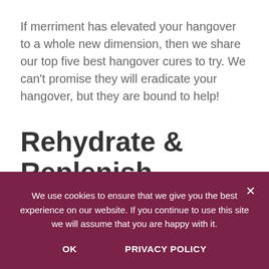If merriment has elevated your hangover to a whole new dimension, then we share our top five best hangover cures to try. We can’t promise they will eradicate your hangover, but they are bound to help!
Rehydrate & Replenish
Drinking alcohol dehydrates your body, so replenish
We use cookies to ensure that we give you the best experience on our website. If you continue to use this site we will assume that you are happy with it.
OK   PRIVACY POLICY